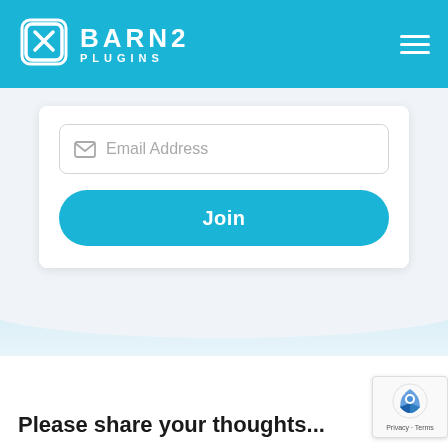BARN2 PLUGINS
[Figure (screenshot): Email address input field with envelope icon and placeholder text 'Email Address']
[Figure (screenshot): Teal 'Join' button with rounded corners]
[Figure (illustration): Light blue wave/gradient decorative section]
Please share your thoughts...